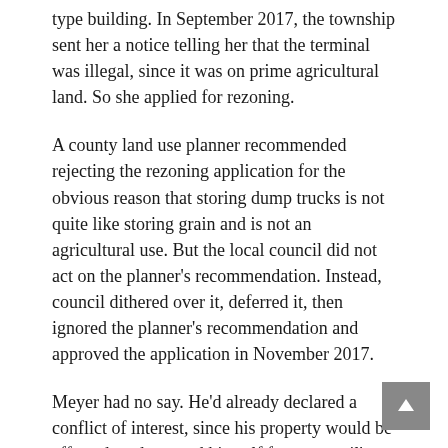type building. In September 2017, the township sent her a notice telling her that the terminal was illegal, since it was on prime agricultural land. So she applied for rezoning.
A county land use planner recommended rejecting the rezoning application for the obvious reason that storing dump trucks is not quite like storing grain and is not an agricultural use. But the local council did not act on the planner’s recommendation. Instead, council dithered over it, deferred it, then ignored the planner’s recommendation and approved the application in November 2017.
Meyer had no say. He’d already declared a conflict of interest, since his property would be affected, and recused himself from council’s vote. Shortly after council approved the rezoning, Meyer appealed. “It was a rubber-stamp approval and it just wasn’t acceptable,” he said, citing concerns about noise, traffic, and washwater runoff to his crops, and the loss of prime agricultural land.
Over six months later, the tribunal heard Meyer’s appeal. That